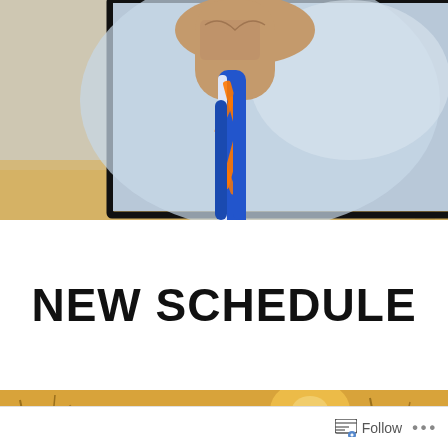[Figure (photo): Photo of a person holding a blue, white, and orange braided rope or cord, with a black border frame. Background is blurred outdoor scene with warm golden tones and a tree on the right side.]
NEW SCHEDULE
[Figure (photo): Warm golden-toned outdoor photo strip showing grass/wheat stalks with sunlight, used as a decorative banner.]
Follow ...